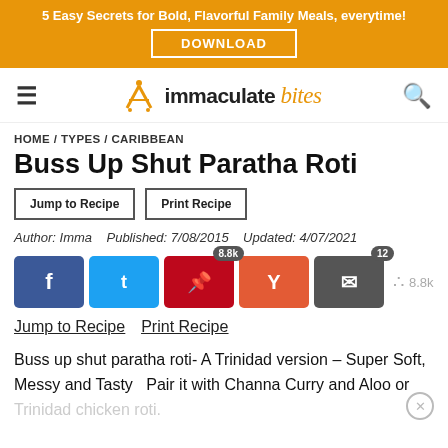5 Easy Secrets for Bold, Flavorful Family Meals, everytime! DOWNLOAD
[Figure (logo): Immaculate Bites website logo with hamburger menu and search icon]
HOME / TYPES / CARIBBEAN
Buss Up Shut Paratha Roti
Jump to Recipe   Print Recipe
Author: Imma   Published: 7/08/2015   Updated: 4/07/2021
[Figure (infographic): Social share buttons: Facebook, Twitter, Pinterest (8.8k), Yummly, Email (12), share icon with 8.8k count]
Jump to Recipe   Print Recipe
Buss up shut paratha roti- A Trinidad version – Super Soft, Messy and Tasty   Pair it with Channa Curry and Aloo or Trinidad chicken roti.